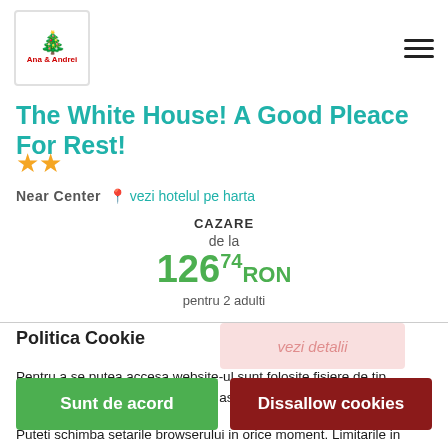The White House! A Good Pleace For Rest!
The White House! A Good Pleace For Rest!
★★
Near Center  vezi hotelul pe harta
CAZARE
de la
12674 RON
pentru 2 adulti
Politica Cookie
vezi detalii
Pentru a se putea accesa website-ul sunt folosite fisiere de tip Cookie. Dorim sa va informam ce astfel de fisiere sunt stocate in website-ul Dvs.
Puteti schimba setarile browserului in orice moment. Limitarile in utilizarea fisierelor Cookies pot afecta functionarea corecta a website-ului.
Sunt de acord
Dissallow cookies